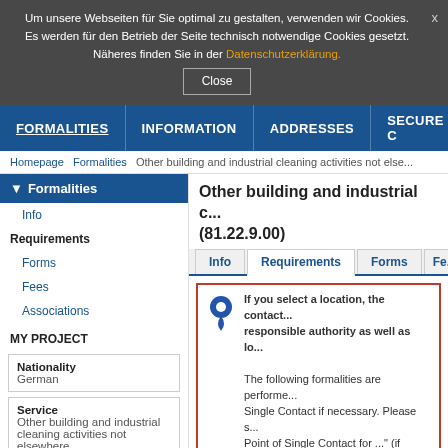Um unsere Webseiten für Sie optimal zu gestalten, verwenden wir Cookies. Es werden für den Betrieb der Seite technisch notwendige Cookies gesetzt. Näheres finden Sie in der Datenschutzerklärung.
Close
FORMALITIES | INFORMATION | ADDRESSES | SECURE C
Homepage > Formalities > Other building and industrial cleaning activities not else...
Formalities
Info
Requirements
Forms
Fees
Associations
MY PROJECT
Nationality
German
Service
Other building and industrial cleaning activities not elsewhere...
Other building and industrial c... (81.22.9.00)
Info | Requirements | Forms | Fe...
If you select a location, the contact... responsible authority as well as lo...
The following formalities are performe... Single Contact if necessary. Please s... Point of Single Contact for ..." (if avail... displayed. The contact details of the c...
Formalities according to the Se...